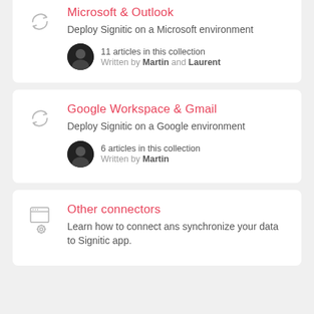Microsoft & Outlook
Deploy Signitic on a Microsoft environment
11 articles in this collection
Written by Martin and Laurent
Google Workspace & Gmail
Deploy Signitic on a Google environment
6 articles in this collection
Written by Martin
Other connectors
Learn how to connect ans synchronize your data to Signitic app.